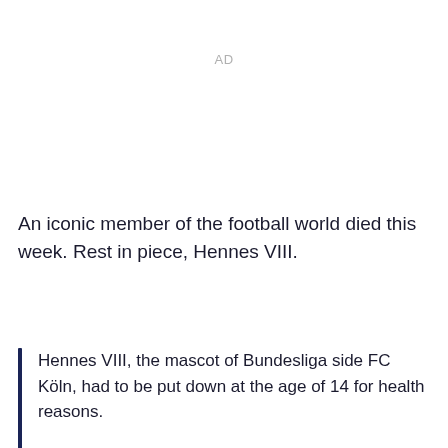AD
An iconic member of the football world died this week. Rest in piece, Hennes VIII.
Hennes VIII, the mascot of Bundesliga side FC Köln, had to be put down at the age of 14 for health reasons.

Rest in peace football's true GOAT.